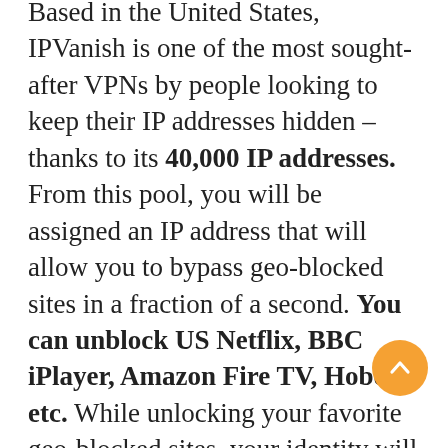Based in the United States, IPVanish is one of the most sought-after VPNs by people looking to keep their IP addresses hidden – thanks to its 40,000 IP addresses. From this pool, you will be assigned an IP address that will allow you to bypass geo-blocked sites in a fraction of a second. You can unblock US Netflix, BBC iPlayer, Amazon Fire TV, Hobo, etc. While unlocking your favorite geo-blocked sites, your identity will remain unknown to hackers and the government.
IPVanish offers you the online security you need so much, by changing your IP address and also providing you with